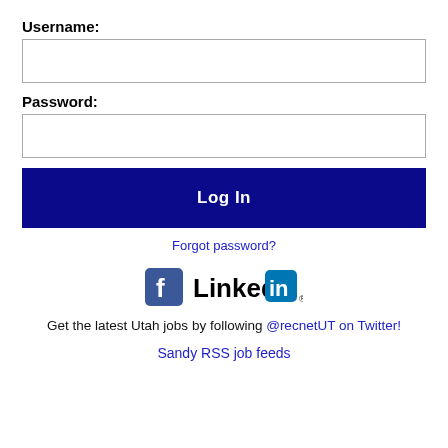Username:
[Figure (other): Username text input box (empty)]
Password:
[Figure (other): Password text input box (empty)]
Log In
Forgot password?
[Figure (logo): Facebook logo icon and LinkedIn logo side by side]
Get the latest Utah jobs by following @recnetUT on Twitter!
Sandy RSS job feeds